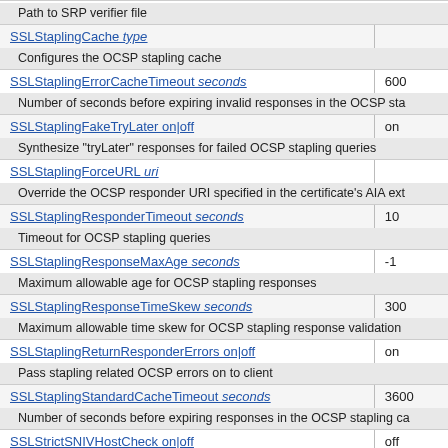| Directive | Default |
| --- | --- |
| SSLStaplingCache type |  |
| Configures the OCSP stapling cache |  |
| SSLStaplingErrorCacheTimeout seconds | 600 |
| Number of seconds before expiring invalid responses in the OCSP sta |  |
| SSLStaplingFakeTryLater on|off | on |
| Synthesize "tryLater" responses for failed OCSP stapling queries |  |
| SSLStaplingForceURL uri |  |
| Override the OCSP responder URI specified in the certificate's AIA ext |  |
| SSLStaplingResponderTimeout seconds | 10 |
| Timeout for OCSP stapling queries |  |
| SSLStaplingResponseMaxAge seconds | -1 |
| Maximum allowable age for OCSP stapling responses |  |
| SSLStaplingResponseTimeSkew seconds | 300 |
| Maximum allowable time skew for OCSP stapling response validation |  |
| SSLStaplingReturnResponderErrors on|off | on |
| Pass stapling related OCSP errors on to client |  |
| SSLStaplingStandardCacheTimeout seconds | 3600 |
| Number of seconds before expiring responses in the OCSP stapling ca |  |
| SSLStrictSNIVHostCheck on|off | off |
| Whether to allow non-SNI clients to access a name-based virtual host. |  |
| SSLUserName varname |  |